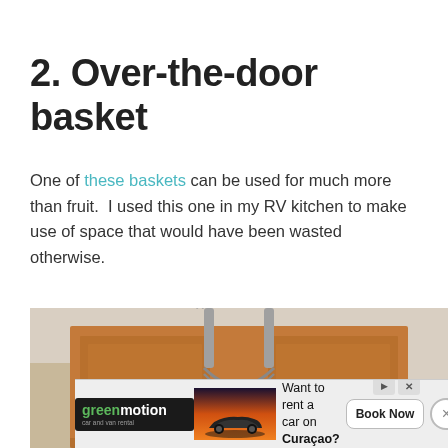2. Over-the-door basket
One of these baskets can be used for much more than fruit.  I used this one in my RV kitchen to make use of space that would have been wasted otherwise.
[Figure (photo): Photo showing the top of a wooden cabinet door with an over-the-door basket hanger (silver metal hooks) over the cabinet door, photographed from below against a beige wall background.]
[Figure (infographic): Advertisement banner for greenmotion car and van rental, with logo, image of a car at sunset, text 'Want to rent a car on Curaçao?' and a 'Book Now' button.]